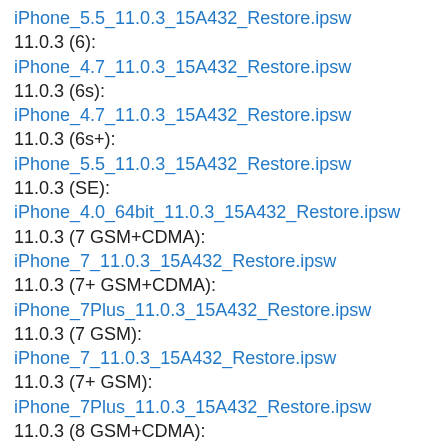iPhone_5.5_11.0.3_15A432_Restore.ipsw
11.0.3 (6):
iPhone_4.7_11.0.3_15A432_Restore.ipsw
11.0.3 (6s):
iPhone_4.7_11.0.3_15A432_Restore.ipsw
11.0.3 (6s+):
iPhone_5.5_11.0.3_15A432_Restore.ipsw
11.0.3 (SE):
iPhone_4.0_64bit_11.0.3_15A432_Restore.ipsw
11.0.3 (7 GSM+CDMA):
iPhone_7_11.0.3_15A432_Restore.ipsw
11.0.3 (7+ GSM+CDMA):
iPhone_7Plus_11.0.3_15A432_Restore.ipsw
11.0.3 (7 GSM):
iPhone_7_11.0.3_15A432_Restore.ipsw
11.0.3 (7+ GSM):
iPhone_7Plus_11.0.3_15A432_Restore.ipsw
11.0.3 (8 GSM+CDMA):